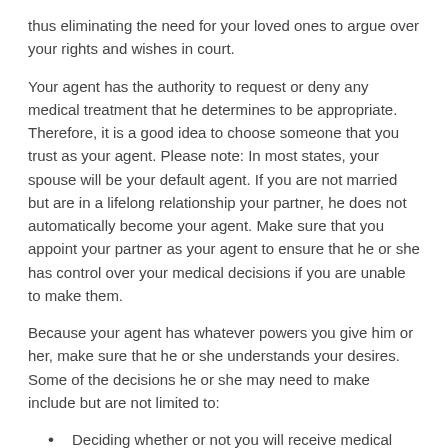thus eliminating the need for your loved ones to argue over your rights and wishes in court.
Your agent has the authority to request or deny any medical treatment that he determines to be appropriate. Therefore, it is a good idea to choose someone that you trust as your agent. Please note: In most states, your spouse will be your default agent. If you are not married but are in a lifelong relationship your partner, he does not automatically become your agent. Make sure that you appoint your partner as your agent to ensure that he or she has control over your medical decisions if you are unable to make them.
Because your agent has whatever powers you give him or her, make sure that he or she understands your desires. Some of the decisions he or she may need to make include but are not limited to:
Deciding whether or not you will receive medical treatment
Withdrawing life-support